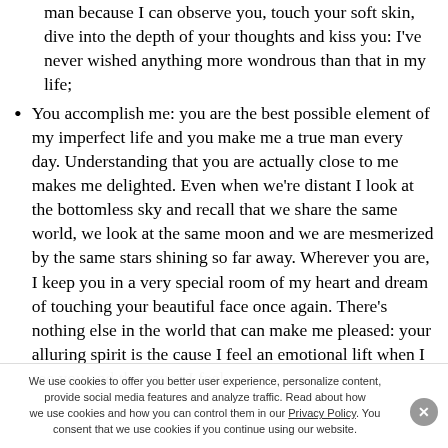man because I can observe you, touch your soft skin, dive into the depth of your thoughts and kiss you: I've never wished anything more wondrous than that in my life;
You accomplish me: you are the best possible element of my imperfect life and you make me a true man every day. Understanding that you are actually close to me makes me delighted. Even when we're distant I look at the bottomless sky and recall that we share the same world, we look at the same moon and we are mesmerized by the same stars shining so far away. Wherever you are, I keep you in a very special room of my heart and dream of touching your beautiful face once again. There's nothing else in the world that can make me pleased: your alluring spirit is the cause I feel an emotional lift when I see you and the cause I feel
We use cookies to offer you better user experience, personalize content, provide social media features and analyze traffic. Read about how we use cookies and how you can control them in our Privacy Policy. You consent that we use cookies if you continue using our website.